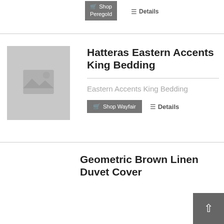[Figure (other): Shop Peregold button (cart icon) and Details link at top]
[Figure (photo): Product image placeholder for Hatteras Eastern Accents King Bedding]
Hatteras Eastern Accents King Bedding
Eastern Accents King Bedding
[Figure (other): Shop Wayfair button and Details link]
Geometric Brown Linen Duvet Cover